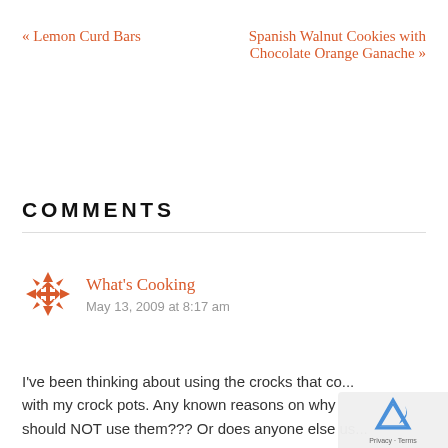« Lemon Curd Bars
Spanish Walnut Cookies with Chocolate Orange Ganache »
COMMENTS
What's Cooking
May 13, 2009 at 8:17 am
I've been thinking about using the crocks that co... with my crock pots. Any reasons on why... should NOT use them??? Or does anyone else use...